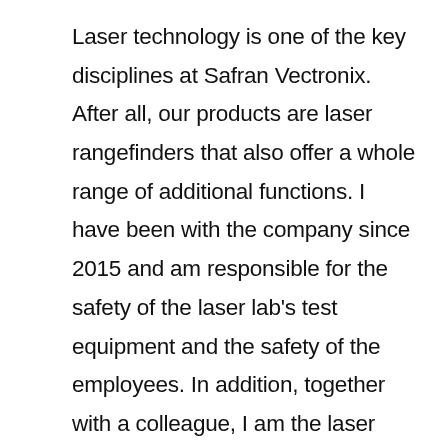Laser technology is one of the key disciplines at Safran Vectronix. After all, our products are laser rangefinders that also offer a whole range of additional functions. I have been with the company since 2015 and am responsible for the safety of the laser lab's test equipment and the safety of the employees. In addition, together with a colleague, I am the laser safety officer for the entire company. I also take on project management tasks for future laser solutions that we develop for new devices. These are very exciting projects. I chose Safran Vectronix as my employer directly after completing my bachelor's and master's degrees in physical optics in Metz (France). It was important for me to work in a company that is one of the world leaders in the field of optronics. Here I have the opportunity, together with many technically oriented colleagues, to work on ideas for the further improvement